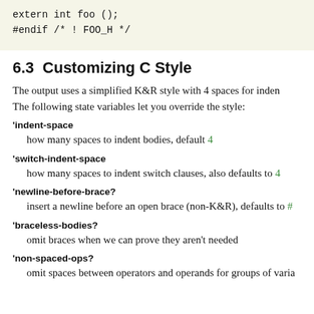[Figure (screenshot): Code block showing: extern int foo (); and #endif /* ! FOO_H */]
6.3  Customizing C Style
The output uses a simplified K&R style with 4 spaces for indentation. The following state variables let you override the style:
'indent-space
how many spaces to indent bodies, default 4
'switch-indent-space
how many spaces to indent switch clauses, also defaults to 4
'newline-before-brace?
insert a newline before an open brace (non-K&R), defaults to #
'braceless-bodies?
omit braces when we can prove they aren't needed
'non-spaced-ops?
omit spaces between operators and operands for groups of varia…